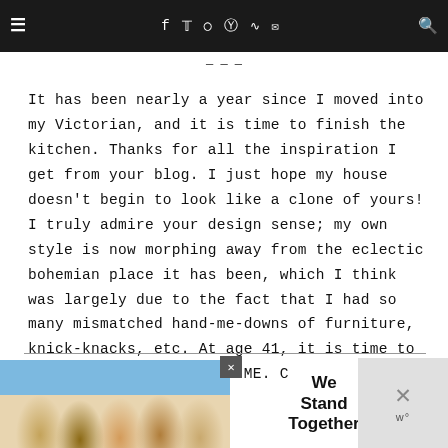Navigation bar with menu icon, social icons (f, twitter, instagram, pinterest, rss, mail), and search icon
It has been nearly a year since I moved into my Victorian, and it is time to finish the kitchen. Thanks for all the inspiration I get from your blog. I just hope my house doesn't begin to look like a clone of yours! I truly admire your design sense; my own style is now morphing away from the eclectic bohemian place it has been, which I think was largely due to the fact that I had so many mismatched hand-me-downs of furniture, knick-knacks, etc. At age 41, it is time to refine my style to suit ME. Cheers!
[Figure (photo): Advertisement banner showing people standing together with arms around each other. Text reads 'We Stand Together']
[Figure (other): Close button / X overlay on right side with small logo mark]